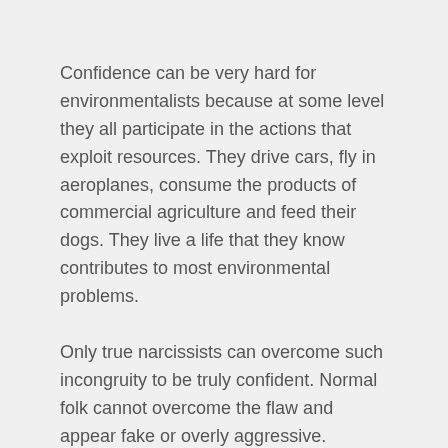Confidence can be very hard for environmentalists because at some level they all participate in the actions that exploit resources. They drive cars, fly in aeroplanes, consume the products of commercial agriculture and feed their dogs. They live a life that they know contributes to most environmental problems.
Only true narcissists can overcome such incongruity to be truly confident. Normal folk cannot overcome the flaw and appear fake or overly aggressive.
Posted in Leadership | Tagged Environment, leadership, Nature | Leave a comment